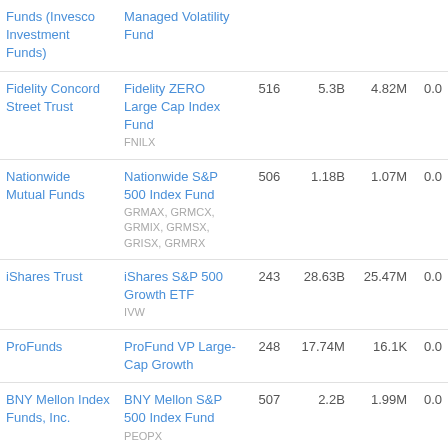| Fund Family | Fund |  |  |  |  |
| --- | --- | --- | --- | --- | --- |
| Funds (Invesco Investment Funds) | Managed Volatility Fund |  |  |  |  |
| Fidelity Concord Street Trust | Fidelity ZERO Large Cap Index Fund
FNILX | 516 | 5.3B | 4.82M | 0.0 |
| Nationwide Mutual Funds | Nationwide S&P 500 Index Fund
GRMAX, GRMCX, GRMIX, GRMSX, GRISX, GRMRX | 506 | 1.18B | 1.07M | 0.0 |
| iShares Trust | iShares S&P 500 Growth ETF
IVW | 243 | 28.63B | 25.47M | 0.0 |
| ProFunds | ProFund VP Large-Cap Growth | 248 | 17.74M | 16.1K | 0.0 |
| BNY Mellon Index Funds, Inc. | BNY Mellon S&P 500 Index Fund
PEOPX | 507 | 2.2B | 1.99M | 0.0 |
| Voya Equity Trust | VOYA MID CAP RESEARCH ENHANCED | 337 | 140.64M | 126.12K | 0.0 |